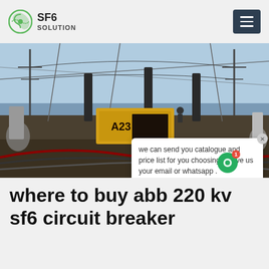SF6 SOLUTION
[Figure (photo): Photo of an electrical substation with high-voltage equipment, cables, transformers, and a yellow truck/container. A chat popup overlay reads: 'we can send you catalogue and price list for you choosing. Leave us your email or whatsapp.' SF6 Expert, just now. Write a. Watermark: SF6China.]
where to buy abb 220 kv sf6 circuit breaker